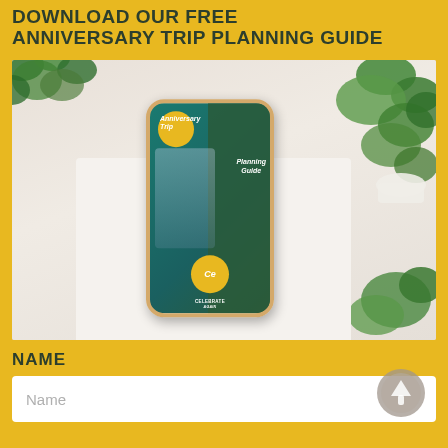DOWNLOAD OUR FREE ANNIVERSARY TRIP PLANNING GUIDE
[Figure (photo): A smartphone displaying the Anniversary Trip Planning Guide cover, shown on a white surface surrounded by green succulent plants. The phone shows teal and green design with yellow circle, white script text reading 'Anniversary Trip Planning Guide' and 'Celebrate' branding at the bottom.]
NAME
Name